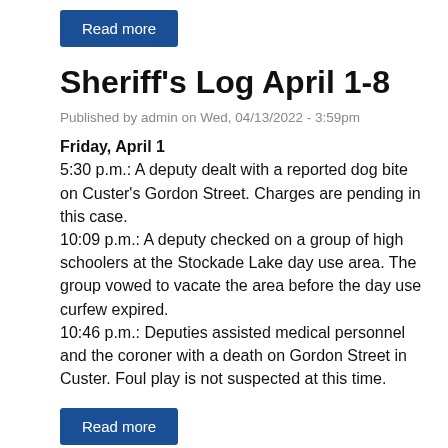Read more
Sheriff's Log April 1-8
Published by admin on Wed, 04/13/2022 - 3:59pm
Friday, April 1
5:30 p.m.: A deputy dealt with a reported dog bite on Custer's Gordon Street. Charges are pending in this case.
10:09 p.m.: A deputy checked on a group of high schoolers at the Stockade Lake day use area. The group vowed to vacate the area before the day use curfew expired.
10:46 p.m.: Deputies assisted medical personnel and the coroner with a death on Gordon Street in Custer. Foul play is not suspected at this time.
Read more